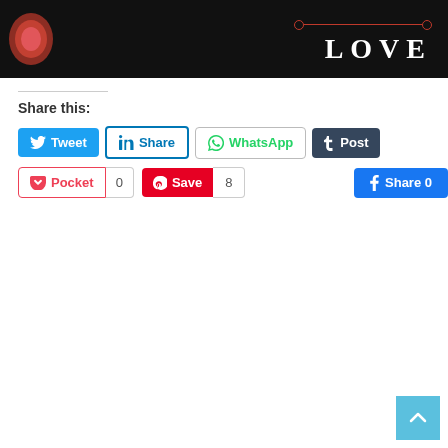[Figure (illustration): Dark banner with a pink/red heart illustration on the left and the word LOVE in large white serif letters on the right, with a decorative red dot-and-line ornament above it.]
Share this:
[Figure (infographic): Row of social share buttons: Tweet (Twitter/blue), Share (LinkedIn/outlined blue), WhatsApp (outlined green), Post (Tumblr/dark). Second row: Pocket (outlined red), count 0, Save (Pinterest/red), count 8, Share 0 (Facebook/blue).]